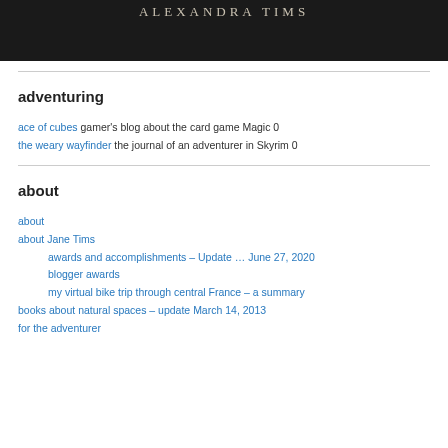[Figure (other): Dark header banner with 'ALEXANDRA TIMS' text in serif caps]
adventuring
ace of cubes gamer's blog about the card game Magic 0
the weary wayfinder the journal of an adventurer in Skyrim 0
about
about
about Jane Tims
awards and accomplishments – Update … June 27, 2020
blogger awards
my virtual bike trip through central France – a summary
books about natural spaces – update March 14, 2013
for the adventurer